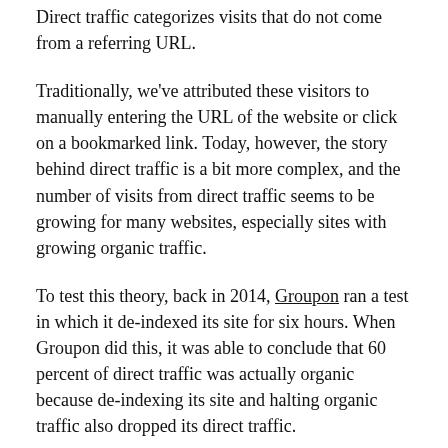Direct traffic categorizes visits that do not come from a referring URL.
Traditionally, we've attributed these visitors to manually entering the URL of the website or click on a bookmarked link. Today, however, the story behind direct traffic is a bit more complex, and the number of visits from direct traffic seems to be growing for many websites, especially sites with growing organic traffic.
To test this theory, back in 2014, Groupon ran a test in which it de-indexed its site for six hours. When Groupon did this, it was able to conclude that 60 percent of direct traffic was actually organic because de-indexing its site and halting organic traffic also dropped its direct traffic.
Why are more sites seeing direct traffic growth, and what should you do about it?